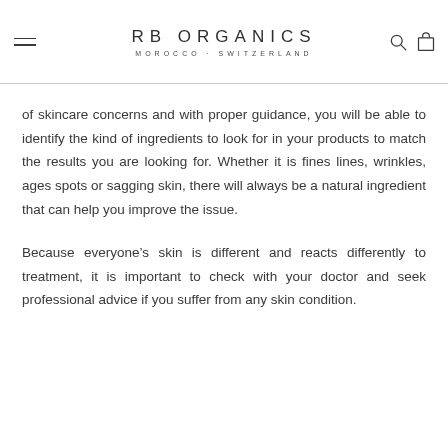RB ORGANICS · MOROCCO · SWITZERLAND
of skincare concerns and with proper guidance, you will be able to identify the kind of ingredients to look for in your products to match the results you are looking for. Whether it is fines lines, wrinkles, ages spots or sagging skin, there will always be a natural ingredient that can help you improve the issue.
Because everyone’s skin is different and reacts differently to treatment, it is important to check with your doctor and seek professional advice if you suffer from any skin condition.